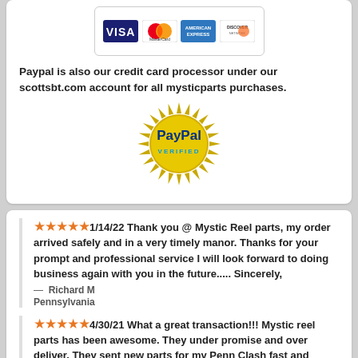[Figure (logo): Credit card logos: Visa, MasterCard, American Express, Discover Network in a bordered box]
Paypal is also our credit card processor under our scottsbt.com account for all mysticparts purchases.
[Figure (logo): PayPal Verified gold seal badge]
★★★★★1/14/22 Thank you @ Mystic Reel parts, my order arrived safely and in a very timely manor. Thanks for your prompt and professional service I will look forward to doing business again with you in the future..... Sincerely,
— Richard M
Pennsylvania
★★★★★4/30/21 What a great transaction!!! Mystic reel parts has been awesome. They under promise and over deliver. They sent new parts for my Penn Clash fast and